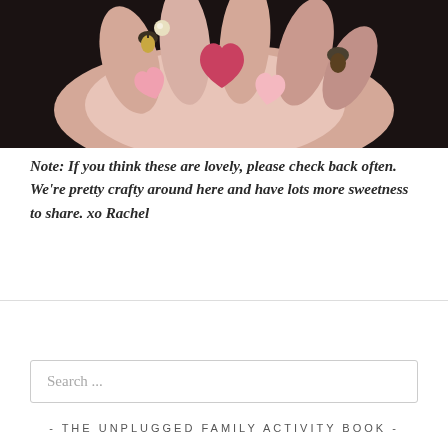[Figure (photo): A hand holding small pink felt heart shapes and acorn caps, photographed from above against a dark background.]
Note: If you think these are lovely, please check back often. We're pretty crafty around here and have lots more sweetness to share. xo Rachel
Search ...
- THE UNPLUGGED FAMILY ACTIVITY BOOK -